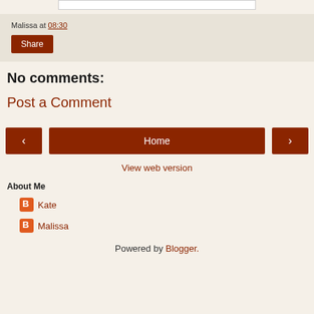Malissa at 08:30
Share
No comments:
Post a Comment
< Home >
View web version
About Me
Kate
Malissa
Powered by Blogger.